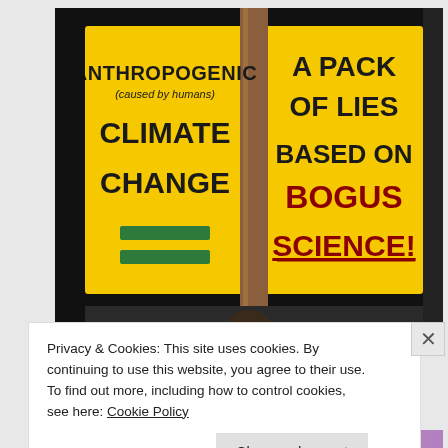[Figure (photo): Photograph of a protest sign being held up. The yellow sign has two panels separated by a wooden stick. Left panel reads: 'ANTHROPOGENIC (caused by humans) CLIMATE CHANGE =' with two green equal-sign bars. Right panel reads: 'A PACK OF LIES BASED ON BOGUS SCIENCE!' where 'BOGUS SCIENCE!' is in bold dark red/maroon with underline.]
Privacy & Cookies: This site uses cookies. By continuing to use this website, you agree to their use.
To find out more, including how to control cookies, see here: Cookie Policy
Close and accept